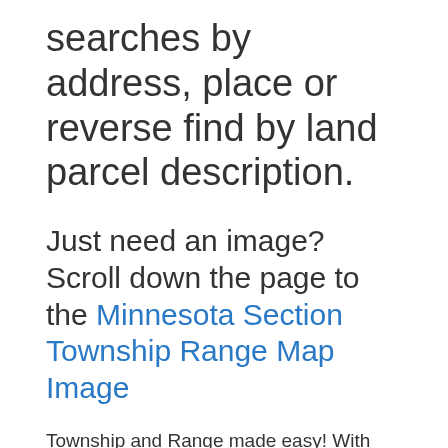searches by address, place or reverse find by land parcel description.
Just need an image? Scroll down the page to the Minnesota Section Township Range Map Image
Township and Range made easy! With this section township range finder, you can view and search the Public Land Survey System (PLSS), also known as Congressional townships or survey townships, all the way down to the section, quarter section and quarter quarter section level anywhere in Minnesota, all overlaid